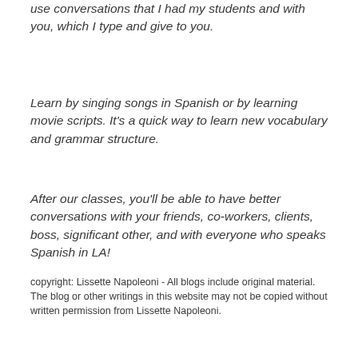use conversations that I had my students and with you, which I type and give to you.
Learn by singing songs in Spanish or by learning movie scripts.  It's a quick way to learn new vocabulary and grammar structure.
After our classes, you'll be able to have better conversations with your friends, co-workers, clients, boss, significant other, and with everyone who speaks Spanish in LA!
copyright: Lissette Napoleoni - All blogs include original material.  The blog or other writings in this website may not be copied without written permission from Lissette Napoleoni.